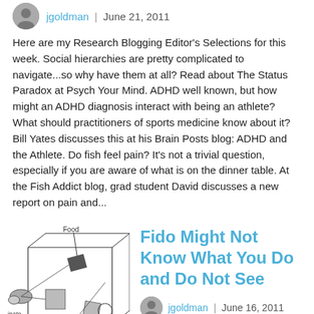jgoldman | June 21, 2011
Here are my Research Blogging Editor's Selections for this week. Social hierarchies are pretty complicated to navigate...so why have them at all? Read about The Status Paradox at Psych Your Mind. ADHD well known, but how might an ADHD diagnosis interact with being an athlete? What should practitioners of sports medicine know about it? Bill Yates discusses this at his Brain Posts blog: ADHD and the Athlete. Do fish feel pain? It's not a trivial question, especially if you are aware of what is on the dinner table. At the Fish Addict blog, grad student David discusses a new report on pain and...
[Figure (engineering-diagram): Scientific diagram showing a box-like apparatus with 'Food' labeled at top, 'inate' on left side, 'Occluders' at bottom, and various geometric shapes inside including circles, squares, and lines representing an experimental setup.]
Fido Might Not Know What You Do and Do Not See
jgoldman | June 16, 2011
You've probably had a conversation that goes something like this: Person